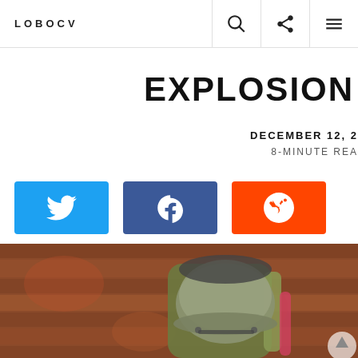LOBOCV
EXPLOSION WI
DECEMBER 12, 2
8-MINUTE REA
[Figure (screenshot): Social share buttons: Twitter (blue), Facebook (dark blue), Reddit (orange)]
[Figure (photo): A military/tactical helmet in a backpack, with a blurred wooden wall background]